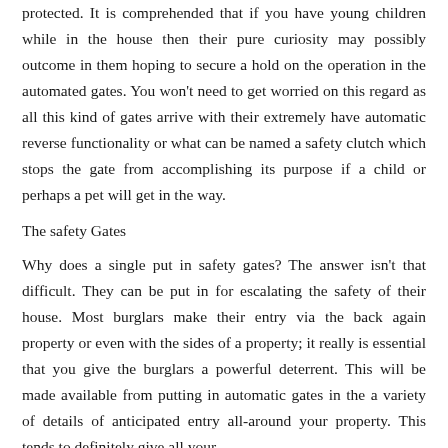protected. It is comprehended that if you have young children while in the house then their pure curiosity may possibly outcome in them hoping to secure a hold on the operation in the automated gates. You won't need to get worried on this regard as all this kind of gates arrive with their extremely have automatic reverse functionality or what can be named a safety clutch which stops the gate from accomplishing its purpose if a child or perhaps a pet will get in the way.
The safety Gates
Why does a single put in safety gates? The answer isn't that difficult. They can be put in for escalating the safety of their house. Most burglars make their entry via the back again property or even with the sides of a property; it really is essential that you give the burglars a powerful deterrent. This will be made available from putting in automatic gates in the a variety of details of anticipated entry all-around your property. This tends to definitely give all your